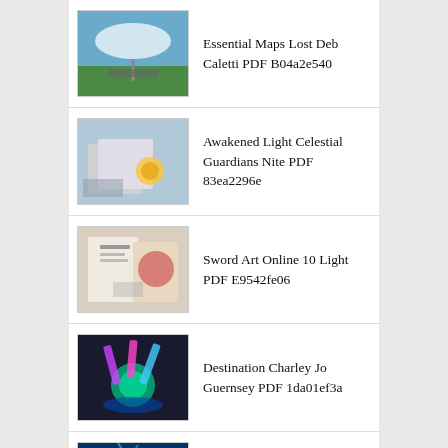Essential Maps Lost Deb Caletti PDF B04a2e540
Awakened Light Celestial Guardians Nite PDF 83ea2296e
Sword Art Online 10 Light PDF E9542fe06
Destination Charley Jo Guernsey PDF 1da01ef3a
Grit Novel Gillian French PDF A73051ffa
United As One Lorien Legacies PDF 788767e39